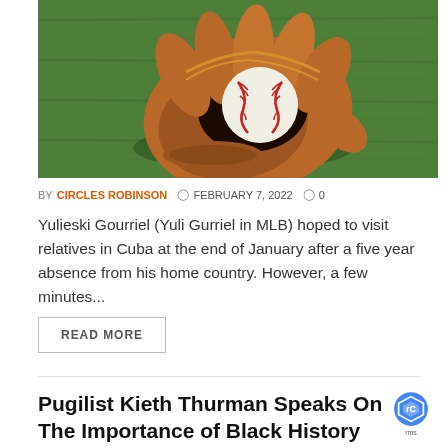[Figure (photo): A baseball glove with a baseball inside it, lying on green grass.]
BY CIRCLES ROBINSON  © FEBRUARY 7, 2022  ◯ 0
Yulieski Gourriel (Yuli Gurriel in MLB) hoped to visit relatives in Cuba at the end of January after a five year absence from his home country. However, a few minutes...
READ MORE
Pugilist Kieth Thurman Speaks On The Importance of Black History Month